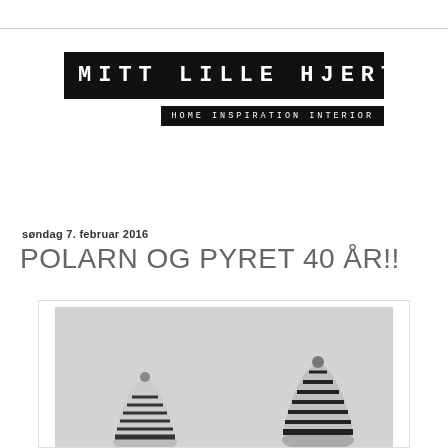[Figure (logo): Blog logo: black rectangle with white monospace text 'MITT LILLE HJERTE' in large letters, below it a smaller black bar with 'HOME INSPIRATION INTERIOR']
søndag 7. februar 2016
POLARN OG PYRET 40 ÅR!!
[Figure (photo): Black and white photo showing two striped winter hats/beanies on a light grey background, partially cropped at bottom of frame]